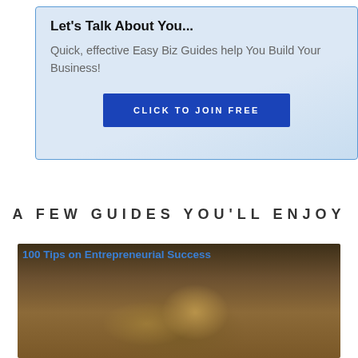Let's Talk About You...
Quick, effective Easy Biz Guides help You Build Your Business!
CLICK TO JOIN FREE
A FEW GUIDES YOU'LL ENJOY
[Figure (photo): Photo of a lion with a link overlay reading '100 Tips on Entrepreneurial Success']